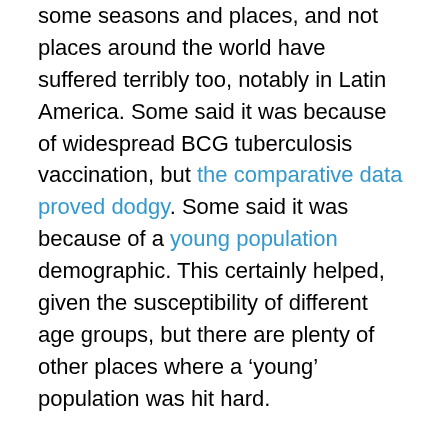some seasons and places, and not places around the world have suffered terribly too, notably in Latin America. Some said it was because of widespread BCG tuberculosis vaccination, but the comparative data proved dodgy. Some said it was because of a young population demographic. This certainly helped, given the susceptibility of different age groups, but there are plenty of other places where a ‘young’ population was hit hard.
Certainly African countries, including Zimbabwe, responded to the pandemic quickly and effectively in line with WHO recommendations, with national lockdowns, restrictions on movements and health campaigns. This was unlike Western nations where the response was sluggish, with an arrogance that they knew best. Clearly, they didn’t and coronavirus did not turn out to be like ‘flu as all the elaborate preparedness and contingency plans